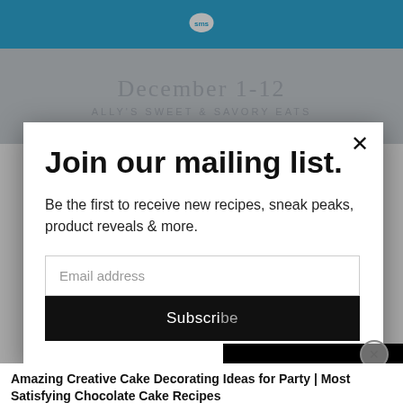[Figure (screenshot): Blue header bar with SMS logo (speech bubble icon)]
[Figure (screenshot): Background showing partially visible text: 'December 1-12' and 'ALLY'S SWEET & SAVORY EATS']
Join our mailing list.
Be the first to receive new recipes, sneak peaks, product reveals & more.
Email address
Subscribe
[Figure (screenshot): Black video overlay panel with spinning circle loading indicator and CLOSE button]
Amazing Creative Cake Decorating Ideas for Party | Most Satisfying Chocolate Cake Recipes